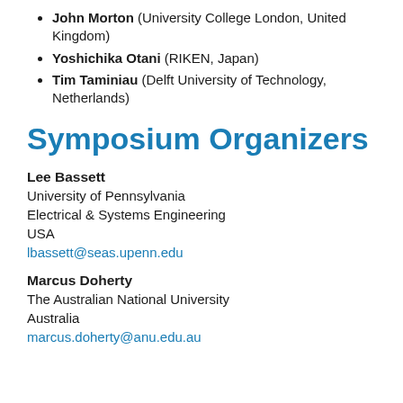John Morton (University College London, United Kingdom)
Yoshichika Otani (RIKEN, Japan)
Tim Taminiau (Delft University of Technology, Netherlands)
Symposium Organizers
Lee Bassett
University of Pennsylvania
Electrical & Systems Engineering
USA
lbassett@seas.upenn.edu
Marcus Doherty
The Australian National University
Australia
marcus.doherty@anu.edu.au